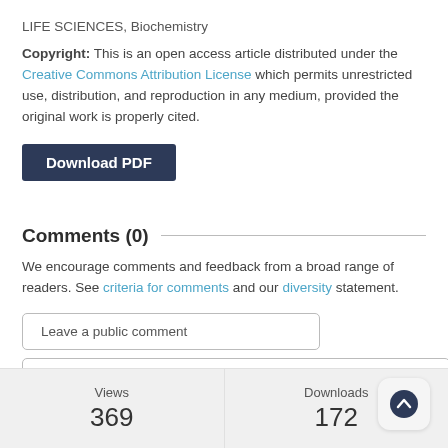LIFE SCIENCES, Biochemistry
Copyright: This is an open access article distributed under the Creative Commons Attribution License which permits unrestricted use, distribution, and reproduction in any medium, provided the original work is properly cited.
[Figure (other): Dark navy Download PDF button]
Comments (0)
We encourage comments and feedback from a broad range of readers. See criteria for comments and our diversity statement.
Leave a public comment
Send a private comment to the author(s)
| Views | Downloads |
| --- | --- |
| 369 | 172 |